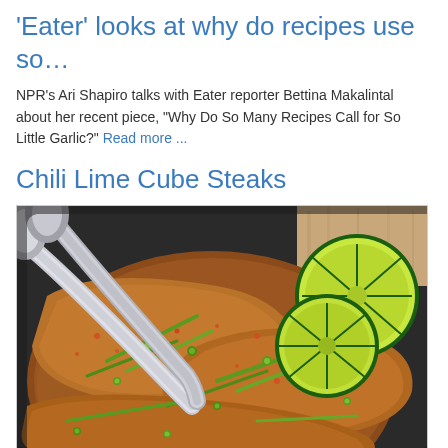'Eater' looks at why do recipes use so…
NPR's Ari Shapiro talks with Eater reporter Bettina Makalintal about her recent piece, "Why Do So Many Recipes Call for So Little Garlic?" Read more ...
Chili Lime Cube Steaks
[Figure (photo): A cast iron skillet containing chili lime cube steaks topped with sliced green onions and lime rounds, with metal tongs resting in the pan.]